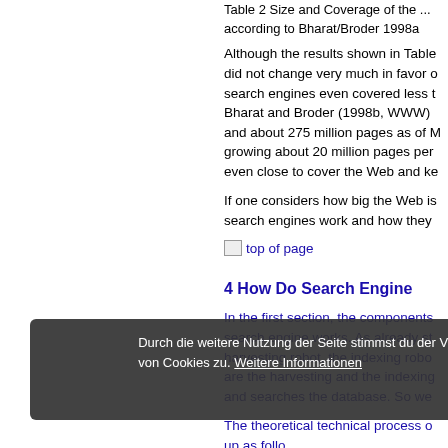Table 2 Size and Coverage of the ... according to Bharat/Broder 1998a
Although the results shown in Table ... did not change very much in favor ... search engines even covered less ... Bharat and Broder (1998b, WWW) ... and about 275 million pages as of ... growing about 20 million pages per ... even close to cover the Web and k...
If one considers how big the Web is ... search engines work and how they ...
top of page
4 How Do Search Engine...
In the first section, the components... search engine works. As already st... harvesting robot, the indexing robo... are the harvesting and the indexing... and searches the database. So we...
The theoretical technical process o... up as follo... disco... ns. It saves... used ... robot for ret... parts of the text or the whole text o... a database, that contains the word...
Durch die weitere Nutzung der Seite stimmst du der Verwendung von Cookies zu. Weitere Informationen